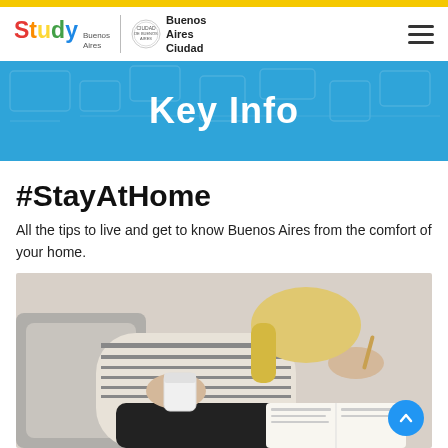Study Buenos Aires | Buenos Aires Ciudad
Key Info
#StayAtHome
All the tips to live and get to know Buenos Aires from the comfort of your home.
[Figure (photo): Person sitting on a couch holding a coffee cup and writing in a notebook, wearing a striped long-sleeve shirt]